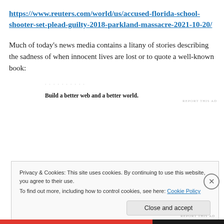https://www.reuters.com/world/us/accused-florida-school-shooter-set-plead-guilty-2018-parkland-massacre-2021-10-20/
Much of today's news media contains a litany of stories describing the sadness of when innocent lives are lost or to quote a well-known book:
Build a better web and a better world.
REPORT THIS AD
Privacy & Cookies: This site uses cookies. By continuing to use this website, you agree to their use.
To find out more, including how to control cookies, see here: Cookie Policy
Close and accept